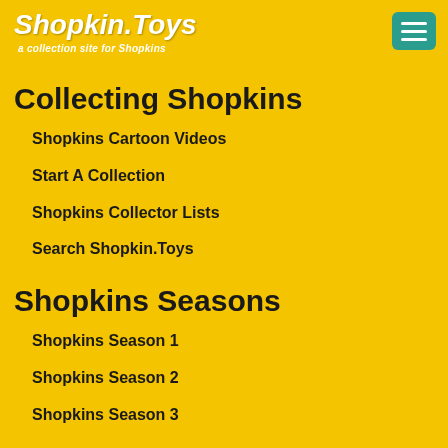Shopkin.Toys — a collection site for Shopkins
Collecting Shopkins
Shopkins Cartoon Videos
Start A Collection
Shopkins Collector Lists
Search Shopkin.Toys
Shopkins Seasons
Shopkins Season 1
Shopkins Season 2
Shopkins Season 3